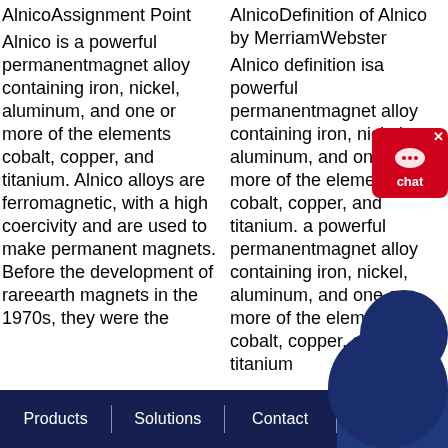AlnicoAssignment Point
Alnico is a powerful permanentmagnet alloy containing iron, nickel, aluminum, and one or more of the elements cobalt, copper, and titanium. Alnico alloys are ferromagnetic, with a high coercivity and are used to make permanent magnets. Before the development of rareearth magnets in the 1970s, they were the
AlnicoDefinition of Alnico by MerriamWebster
Alnico definition isa powerful permanentmagnet alloy containing iron, nickel, aluminum, and one or more of the elements cobalt, copper, and titanium. a powerful permanentmagnet alloy containing iron, nickel, aluminum, and one or more of the elements cobalt, copper, and titanium
Products | Solutions | Contact | Chat